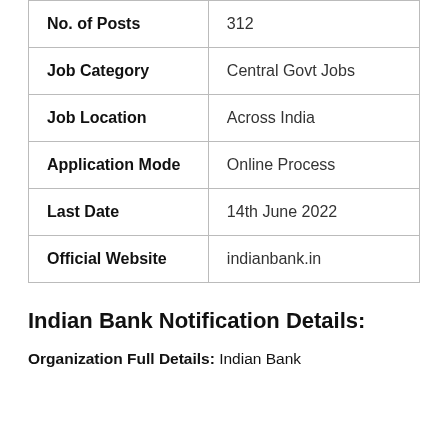| No. of Posts | 312 |
| Job Category | Central Govt Jobs |
| Job Location | Across India |
| Application Mode | Online Process |
| Last Date | 14th June 2022 |
| Official Website | indianbank.in |
Indian Bank Notification Details:
Organization Full Details: Indian Bank